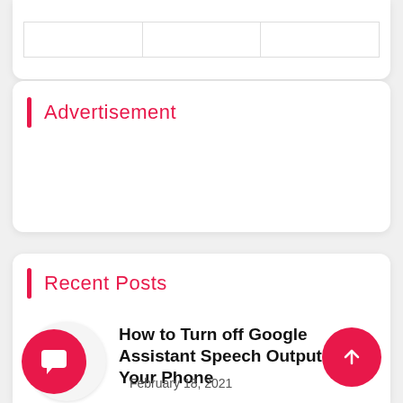|  |  |  |
Advertisement
Recent Posts
[Figure (screenshot): Google Assistant app icon — circular icon with blue, red, yellow circles and an emoji face on white background]
How to Turn off Google Assistant Speech Output on Your Phone
February 18, 2021